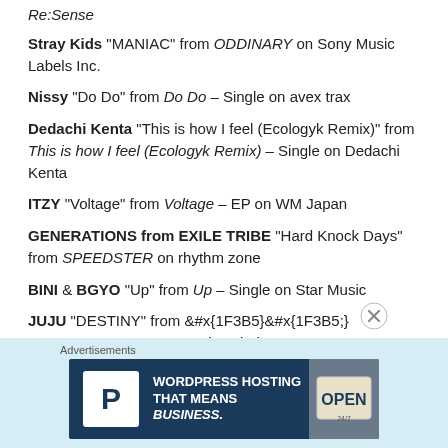Re:Sense
Stray Kids "MANIAC" from ODDINARY on Sony Music Labels Inc.
Nissy "Do Do" from Do Do – Single on avex trax
Dedachi Kenta "This is how I feel (Ecologyk Remix)" from This is how I feel (Ecologyk Remix) – Single on Dedachi Kenta
ITZY "Voltage" from Voltage – EP on WM Japan
GENERATIONS from EXILE TRIBE "Hard Knock Days" from SPEEDSTER on rhythm zone
BINI & BGYO "Up" from Up – Single on Star Music
JUJU "DESTINY" from [Japanese title] on Sony Music Labels Inc.
ENHYPEN "Polaroid Love" from DIMENSION :
Advertisements
[Figure (other): WordPress Hosting advertisement banner: 'WORDPRESS HOSTING THAT MEANS BUSINESS.' with a P logo and an OPEN sign photo]